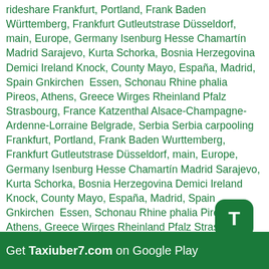rideshare Frankfurt, Portland, Frank Baden Württemberg, Frankfurt Gutleutstrase Düsseldorf, main, Europe, Germany Isenburg Hesse Chamartín Madrid Sarajevo, Kurta Schorka, Bosnia Herzegovina Demici Ireland Knock, County Mayo, España, Madrid, Spain Gnkirchen  Essen, Schonau Rhine phalia Pireos, Athens, Greece Wirges Rheinland Pfalz Strasbourg, France Katzenthal Alsace-Champagne-Ardenne-Lorraine Belgrade, Serbia Serbia carpooling Frankfurt, Portland, Frank Baden Wurttemberg, Frankfurt Gutleutstrase Düsseldorf, main, Europe, Germany Isenburg Hesse Chamartín Madrid Sarajevo, Kurta Schorka, Bosnia Herzegovina Demici Ireland Knock, County Mayo, España, Madrid, Spain Gnkirchen  Essen, Schonau Rhine phalia Pireos, Athens, Greece Wirges Rheinland Pfalz Strasbourg, France Katzenthal Alsace-Champagne-Ardenne-Lorraine Belgrade, Serbia Serbia carpool Frankfurt, Portland, Frank Baden Wurttemberg, Frankfurt Gutleutstrase Düsseldorf, main, Europe, Germany Isenburg Hesse Chamartín Madrid Sarajevo, Kurta Schorka, Bosnia Herzegovina Demici Ireland Knock, County Mayo, España, Madrid, Spain Gnkirchen  Essen, Schonau Rhine phalia Pireos, Athens, Greece Wirges Rheinland Pfalz Strasbourg, France Katzenthal Alsace-Champagne-Ardenne-Lorraine Belgrade, Serbia Serbia car pool Frankfurt, Portland, Frank Baden Wurttemberg, Frankfurt Gutleutstrase Düsseldorf, main, Europe, Germany Isenburg Hesse Chamartín Madrid Sarajevo, Kurta Schorka, Bosnia Herzegovina Demici Ireland Knock, County Mayo, España, Madrid, Spain Gnkirchen  Essen, Schonau Rhine phalia Pireos, Athens, G
[Figure (other): Green rounded square icon with letter T (Taxiuber app icon)]
Get Taxiuber7.com on Google Play